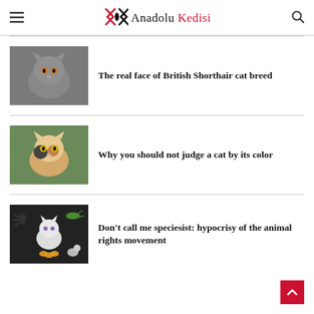Anadolu Kedisi
[Figure (photo): Photo of a grey British Shorthair cat with orange eyes on dark background]
The real face of British Shorthair cat breed
[Figure (photo): Photo of a calico cat with yellow eyes in front of green blurred background]
Why you should not judge a cat by its color
[Figure (photo): Composite photo showing a white cat surrounded by various animals including insects, butterfly, and mouse on dark background]
Don't call me speciesist: hypocrisy of the animal rights movement